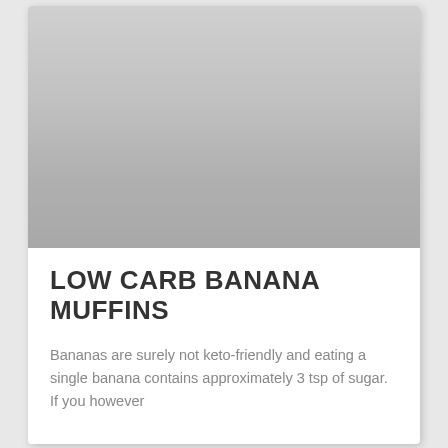[Figure (photo): Large photo placeholder area showing a gradient gray rectangle representing a food photograph of banana muffins]
LOW CARB BANANA MUFFINS
Bananas are surely not keto-friendly and eating a single banana contains approximately 3 tsp of sugar. If you however